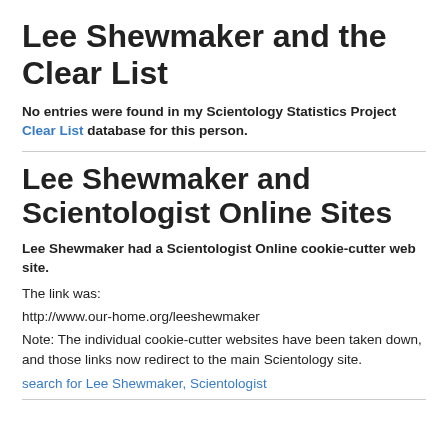Lee Shewmaker and the Clear List
No entries were found in my Scientology Statistics Project Clear List database for this person.
Lee Shewmaker and Scientologist Online Sites
Lee Shewmaker had a Scientologist Online cookie-cutter web site.
The link was:
http://www.our-home.org/leeshewmaker
Note: The individual cookie-cutter websites have been taken down, and those links now redirect to the main Scientology site.
search for Lee Shewmaker, Scientologist